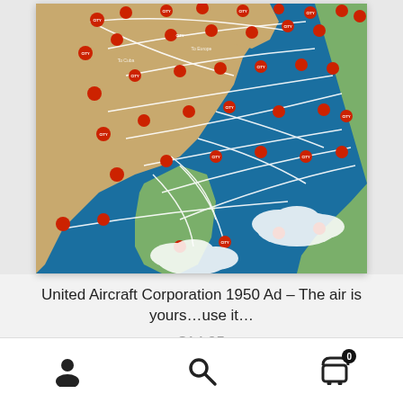[Figure (map): A vintage airline route map showing flight paths across North America, the Atlantic, and Europe with red circular city markers connected by white curved route lines, on a blue ocean and green/tan land background.]
United Aircraft Corporation 1950 Ad – The air is yours…use it…
$14.95
Add to cart